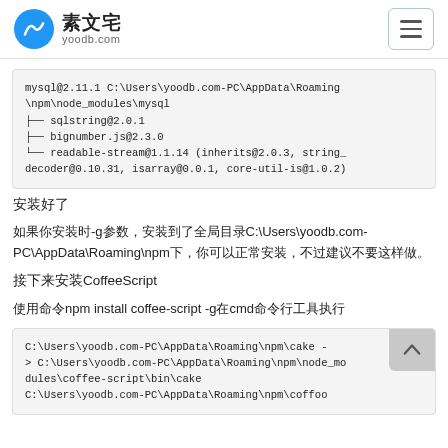素文宅 yoodb.com
[Figure (screenshot): Code block showing npm mysql package tree: mysql@2.11.1 C:\Users\yoodb.com-PC\AppData\Roaming\npm\node_modules\mysql with dependencies sqlstring@2.0.1, bignumber.js@2.3.0, readable-stream@1.1.14 (inherits@2.0.3, string_decoder@0.10.31, isarray@0.0.1, core-util-is@1.0.2)]
安装好了
如果你安装时-g参数，安装到了全局目录C:\Users\yoodb.com-PC\AppData\Roaming\npm下，你可以正常安装，不过建议不要这样做。
接下来安装CoffeeScript
使用命令npm install coffee-script -g在cmd命令行工具执行
[Figure (screenshot): Code block showing: C:\Users\yoodb.com-PC\AppData\Roaming\npm\cake -> C:\Users\yoodb.com-PC\AppData\Roaming\npm\node_modules\coffee-script\bin\cake and C:\Users\yoodb.com-PC\AppData\Roaming\npm\coffo...]